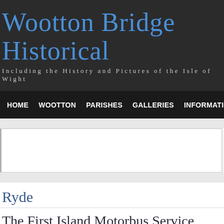Wootton Bridge Historical
Including the History and Pictures of the Isle of Wight
HOME   WOOTTON   PARISHES   GALLERIES   INFORMATION
Ryde
The First Island Motorbus Service
[Figure (photo): Partial view of a historical document or photograph with cream/yellow background, partially visible]